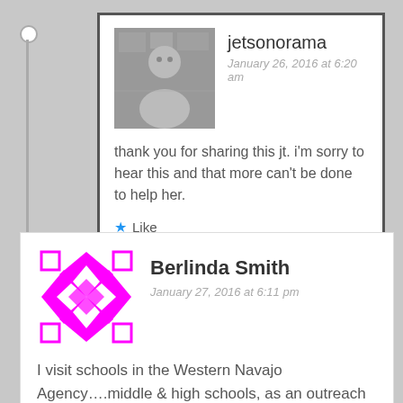[Figure (photo): Avatar/profile photo of jetsonorama, showing a person]
jetsonorama
January 26, 2016 at 6:20 am
thank you for sharing this jt. i'm sorry to hear this and that more can't be done to help her.
Like
Reply
[Figure (illustration): Geometric/kaleidoscope avatar icon in magenta/pink for Berlinda Smith]
Berlinda Smith
January 27, 2016 at 6:11 pm
I visit schools in the Western Navajo Agency….middle & high schools, as an outreach worker. Our agency area is huge